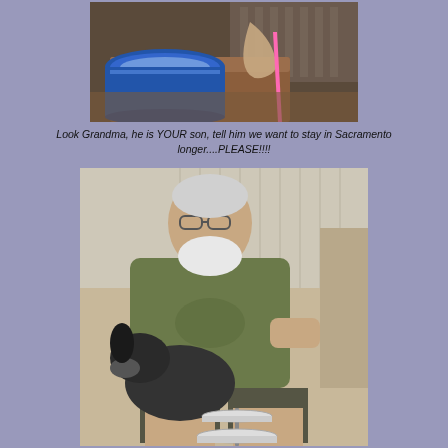[Figure (photo): Elderly person's hand resting on a wooden table next to a blue plastic bucket/bowl, with striped fabric and a pink cane visible in the background]
Look Grandma, he is YOUR son, tell him we want to stay in Sacramento longer....PLEASE!!!!
[Figure (photo): Older man with white beard wearing an olive green t-shirt, sitting on a couch holding a small dark-colored dog on his lap, with a tiered plate stand visible in the foreground]